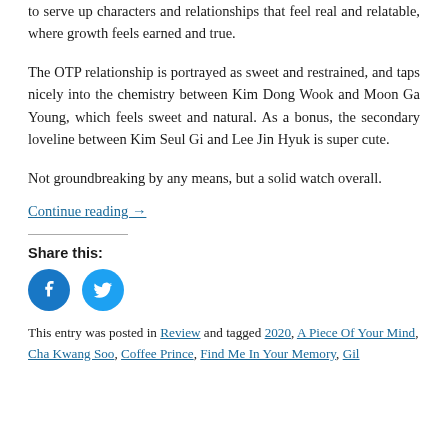to serve up characters and relationships that feel real and relatable, where growth feels earned and true.
The OTP relationship is portrayed as sweet and restrained, and taps nicely into the chemistry between Kim Dong Wook and Moon Ga Young, which feels sweet and natural. As a bonus, the secondary loveline between Kim Seul Gi and Lee Jin Hyuk is super cute.
Not groundbreaking by any means, but a solid watch overall.
Continue reading →
Share this:
[Figure (other): Facebook and Twitter share icon buttons (circular blue icons)]
This entry was posted in Review and tagged 2020, A Piece Of Your Mind, Cha Kwang Soo, Coffee Prince, Find Me In Your Memory, Gil